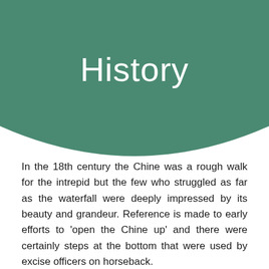History
In the 18th century the Chine was a rough walk for the intrepid but the few who struggled as far as the waterfall were deeply impressed by its beauty and grandeur. Reference is made to early efforts to 'open the Chine up' and there were certainly steps at the bottom that were used by excise officers on horseback.
Jane Austen writing in June 1813 said, “we hired a Sociable and drove round… Shanklin Chine, lovely.” However, it was not until 1817, when a William Colenutt